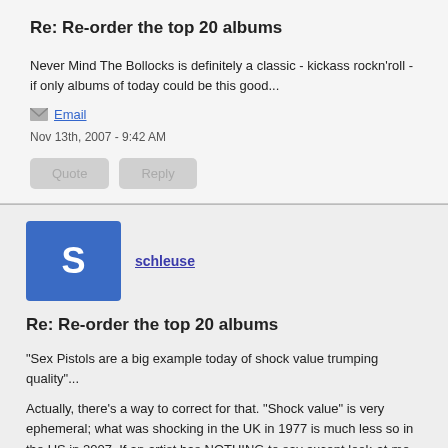Re: Re-order the top 20 albums
Never Mind The Bollocks is definitely a classic - kickass rockn'roll - if only albums of today could be this good...
Email
Nov 13th, 2007 - 9:42 AM
schleuse
Re: Re-order the top 20 albums
"Sex Pistols are a big example today of shock value trumping quality"...
Actually, there's a way to correct for that. "Shock value" is very ephemeral; what was shocking in the UK in 1977 is much less so in the US in 2007. If an artist has NOTHING to say except look-at-me-I'm-so-naughty, then the music doesn't hold up. (After all, how many Alice Cooper fans do we have here?) The Pistols' music does hold up, thirty years later. I know not everyone here agrees, but I think Bollocks is a set of brilliant pop songs, performed with exuberant noise and mess. And I don't find it shocking at all.